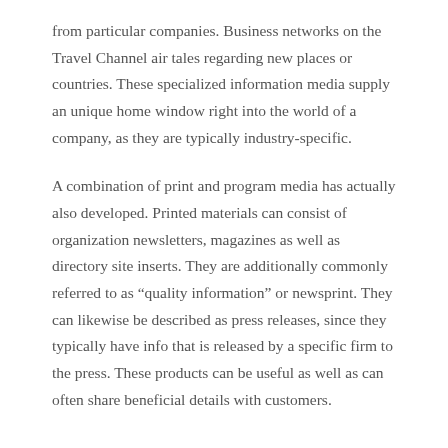from particular companies. Business networks on the Travel Channel air tales regarding new places or countries. These specialized information media supply an unique home window right into the world of a company, as they are typically industry-specific.
A combination of print and program media has actually also developed. Printed materials can consist of organization newsletters, magazines as well as directory site inserts. They are additionally commonly referred to as “quality information” or newsprint. They can likewise be described as press releases, since they typically have info that is released by a specific firm to the press. These products can be useful as well as can often share beneficial details with customers.